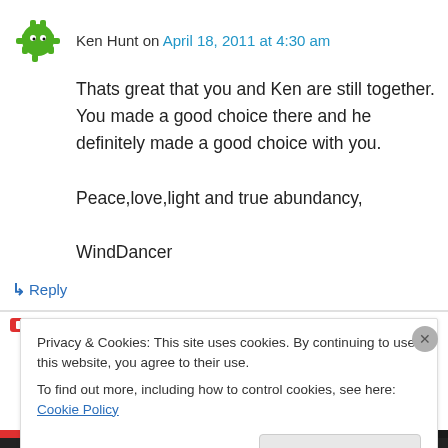Ken Hunt on April 18, 2011 at 4:30 am
Thats great that you and Ken are still together. You made a good choice there and he definitely made a good choice with you.

Peace,love,light and true abundancy,

WindDancer
↳ Reply
Privacy & Cookies: This site uses cookies. By continuing to use this website, you agree to their use.
To find out more, including how to control cookies, see here: Cookie Policy
Close and accept